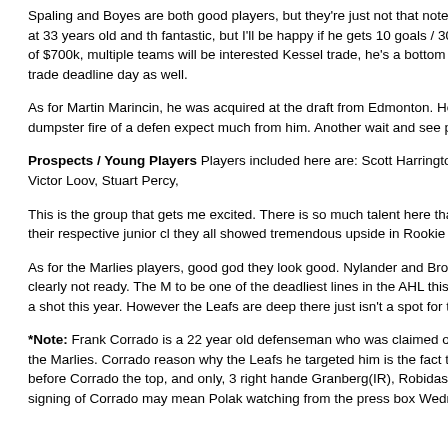Spaling and Boyes are both good players, but they're just not that noteworthy. Boyes never plays a game for them. He gets a professional try out at 33 years old and that's fantastic, but I'll be happy if he gets 10 goals / 30 points this year. In the end though, if infact produce 30-40 points at the cost of $700k, multiple teams will be interested in him. Kessel trade, he's a bottom 6 forward. He won't be an issue this year, but he won't be cannon fodder for trade deadline day as well.
As for Martin Marincin, he was acquired at the draft from Edmonton. He's looked good club this year. However he struggled to make what was a dumpster fire of a defense, don't expect much from him. Another wait and see player.
Prospects / Young Players Players included here are: Scott Harrington, Frank Corrado, Brown, Nikita Soshnikov, Mitch Marner, Jeremy Bracco, Victor Loov, Stuart Percy,
This is the group that gets me excited. There is so much talent here that Leaf fans players. Marner, Bracco, and Dermott will all be back with their respective junior clubs they all showed tremendous upside in Rookie camp. Marner also has a chance to
As for the Marlies players, good god they look good. Nylander and Brown both chased. Harrington made the team. Kapanen looked great, but was clearly not ready. The to be one of the deadliest lines in the AHL this year, and that is very exciting for the make the case that they're ready for a shot this year. However the Leafs are deep there just isn't a spot for them. That being said there will be injuries this year and arise.
*Note: Frank Corrado is a 22 year old defenseman who was claimed off of waivers whether he will start Wednesday night with the Leafs or go to the Marlies. Corrado reason why the Leafs he targeted him is the fact that he is a right handed shot. Ba handedness of his defensemen, and before Corrado the top, and only, 3 right handed Granberg(IR), Robidas(IR). Besides the fact that 2 of 3 are starting the year on inju that. The signing of Corrado may mean Polak watching from the press box Wednes